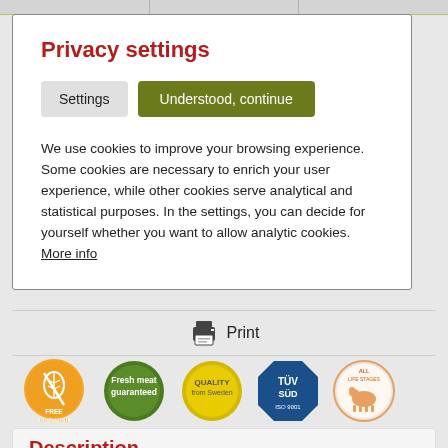Privacy settings
Settings | Understood, continue
We use cookies to improve your browsing experience. Some cookies are necessary to enrich your user experience, while other cookies serve analytical and statistical purposes. In the settings, you can decide for yourself whether you want to allow analytic cookies. More info
[Figure (screenshot): Print button with printer icon]
[Figure (infographic): Row of certification badges: Free of Gluten (orange circular badge), Fresh meat guaranteed (green badge), Quality from Sweden (yellow circular badge), TUV SUD ISO 9001 (blue octagonal badge), All Life Stages dog badge (beige circular badge)]
Description